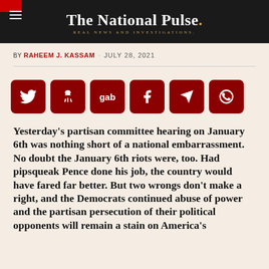The National Pulse. REAL NEWS AND INVESTIGATIONS.
BY RAHEEM J. KASSAM · JULY 28, 2021
[Figure (infographic): Social media share buttons: Twitter, Minds, Gab, Facebook, Telegram, WhatsApp — dark red rounded square icons]
Yesterday's partisan committee hearing on January 6th was nothing short of a national embarrassment. No doubt the January 6th riots were, too. Had pipsqueak Pence done his job, the country would have fared far better. But two wrongs don't make a right, and the Democrats continued abuse of power and the partisan persecution of their political opponents will remain a stain on America's